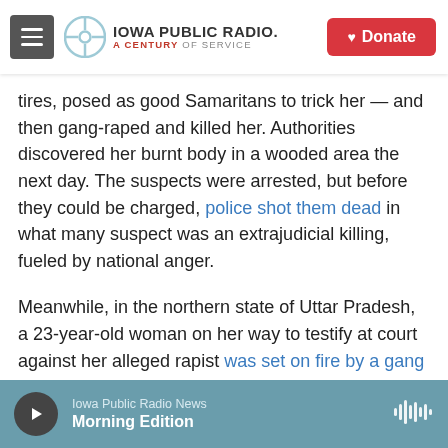Iowa Public Radio — A Century of Service | Donate
tires, posed as good Samaritans to trick her — and then gang-raped and killed her. Authorities discovered her burnt body in a wooded area the next day. The suspects were arrested, but before they could be charged, police shot them dead in what many suspect was an extrajudicial killing, fueled by national anger.
Meanwhile, in the northern state of Uttar Pradesh, a 23-year-old woman on her way to testify at court against her alleged rapist was set on fire by a gang of men, allegedly including her man she had accused. She also died of her injuries.
Iowa Public Radio News — Morning Edition